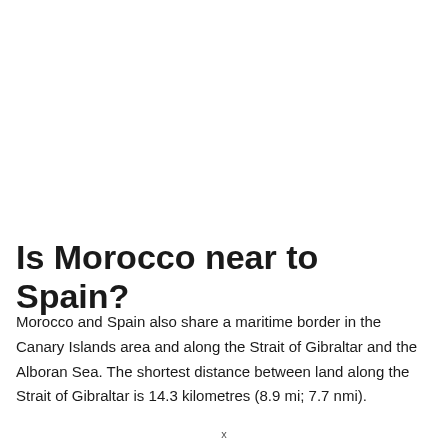Is Morocco near to Spain?
Morocco and Spain also share a maritime border in the Canary Islands area and along the Strait of Gibraltar and the Alboran Sea. The shortest distance between land along the Strait of Gibraltar is 14.3 kilometres (8.9 mi; 7.7 nmi).
x